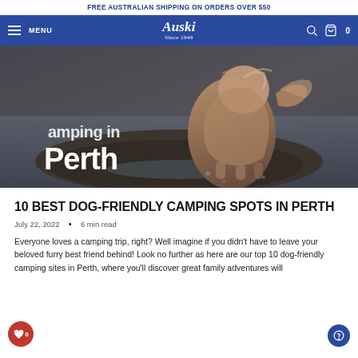FREE AUSTRALIAN SHIPPING ON ORDERS OVER $50
Auski Since 1949
[Figure (photo): A wet dog standing on rocks near water, shaking water off its fur. White bold text 'Perth' visible on the left side of the image.]
10 BEST DOG-FRIENDLY CAMPING SPOTS IN PERTH
July 22, 2022  •  6 min read
Everyone loves a camping trip, right? Well imagine if you didn't have to leave your beloved furry best friend behind! Look no further as here are our top 10 dog-friendly camping sites in Perth, where you'll discover great family adventures will...